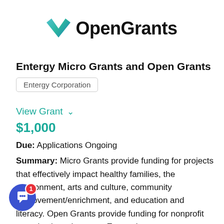[Figure (logo): OpenGrants logo with teal checkmark icon and bold black text]
Entergy Micro Grants and Open Grants
Entergy Corporation
View Grant
$1,000
Due: Applications Ongoing
Summary: Micro Grants provide funding for projects that effectively impact healthy families, the environment, arts and culture, community improvement/enrichment, and education and literacy. Open Grants provide funding for nonprofit organizations that meet Entergy's